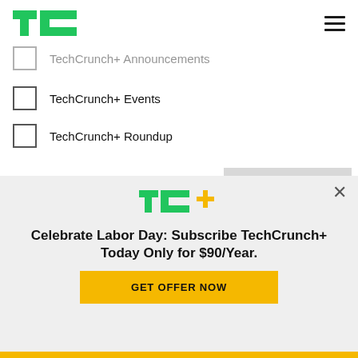TechCrunch
TechCrunch+ Announcements (partially visible, faded)
TechCrunch+ Events
TechCrunch+ Roundup
Email * [input field] Subscribe [button]
[Figure (logo): TC+ logo — green TC letters with yellow plus sign]
Celebrate Labor Day: Subscribe TechCrunch+ Today Only for $90/Year.
GET OFFER NOW